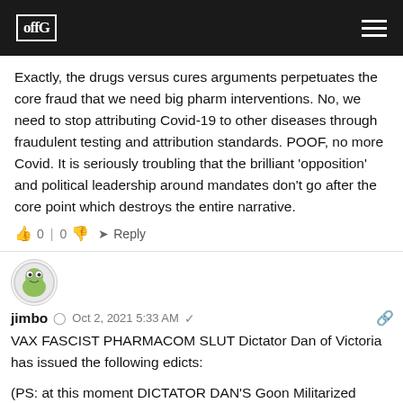offG [logo and navigation header]
Exactly, the drugs versus cures arguments perpetuates the core fraud that we need big pharm interventions. No, we need to stop attributing Covid-19 to other diseases through fraudulent testing and attribution standards. POOF, no more Covid. It is seriously troubling that the brilliant 'opposition' and political leadership around mandates don't go after the core point which destroys the entire narrative.
👍 0 | 0 👎 ➜ Reply
[Figure (illustration): Avatar icon for user jimbo — circular avatar with a cartoon frog/character illustration]
jimbo  © Oct 2, 2021 5:33 AM  🔗
VAX FASCIST PHARMACOM SLUT Dictator Dan of Victoria has issued the following edicts:
(PS: at this moment DICTATOR DAN'S Goon Militarized Pharma...